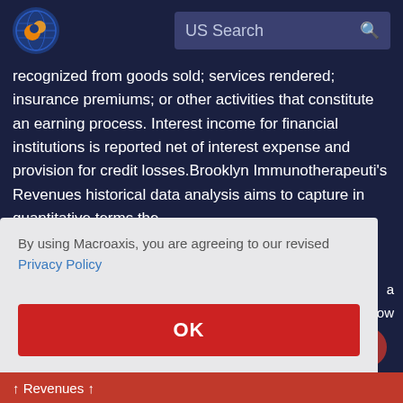[Figure (logo): Macroaxis globe logo — orange and blue circular icon]
US Search
recognized from goods sold; services rendered; insurance premiums; or other activities that constitute an earning process. Interest income for financial institutions is reported net of interest expense and provision for credit losses.Brooklyn Immunotherapeuti's Revenues historical data analysis aims to capture in quantitative terms the
By using Macroaxis, you are agreeing to our revised Privacy Policy
OK
↑ Revenues ↑